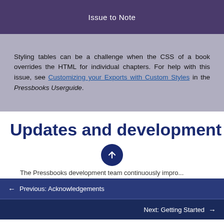Issue to Note
Styling tables can be a challenge when the CSS of a book overrides the HTML for individual chapters. For help with this issue, see Customizing your Exports with Custom Styles in the Pressbooks Userguide.
Updates and development
← Previous: Acknowledgements
Next: Getting Started →